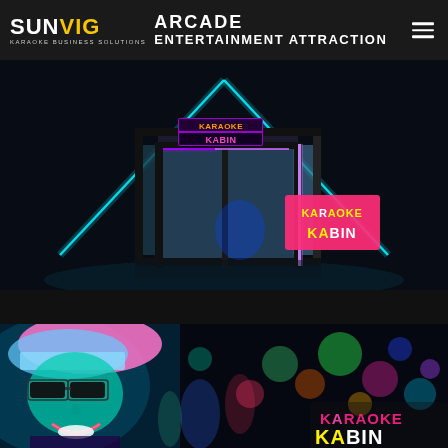SUNVIG KARAOKE BUSINESS SOLUTIONS
ARCADE ENTERTAINMENT ATTRACTION
[Figure (photo): Karaoke Kabin booth kiosk product render on dark background with neon triangle light effect. Pink and yellow 'KARAOKE KABIN' logo displayed on the kiosk sign. 'KARAOKE KABIN' text overlay badge in pink/yellow on right side.]
[Figure (photo): Woman with pink/blue hair and sunglasses smiling at a party/nightclub with colorful bokeh lights. Partial 'KARAOKE KABIN' yellow text logo visible at bottom right.]